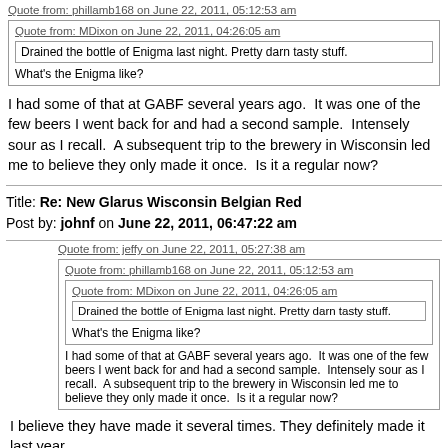Quote from: phillamb168 on June 22, 2011, 05:12:53 am
Quote from: MDixon on June 22, 2011, 04:26:05 am
Drained the bottle of Enigma last night. Pretty darn tasty stuff.
What's the Enigma like?
I had some of that at GABF several years ago.  It was one of the few beers I went back for and had a second sample.  Intensely sour as I recall.  A subsequent trip to the brewery in Wisconsin led me to believe they only made it once.  Is it a regular now?
Title: Re: New Glarus Wisconsin Belgian Red
Post by: johnf on June 22, 2011, 06:47:22 am
Quote from: jeffy on June 22, 2011, 05:27:38 am
Quote from: phillamb168 on June 22, 2011, 05:12:53 am
Quote from: MDixon on June 22, 2011, 04:26:05 am
Drained the bottle of Enigma last night. Pretty darn tasty stuff.
What's the Enigma like?
I had some of that at GABF several years ago.  It was one of the few beers I went back for and had a second sample.  Intensely sour as I recall.  A subsequent trip to the brewery in Wisconsin led me to believe they only made it once.  Is it a regular now?
I believe they have made it several times. They definitely made it last year.
The unverified rumor is that it is the base for Wisconsin